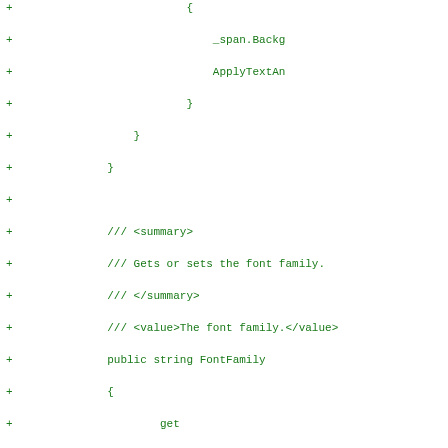[Figure (screenshot): Code diff view showing C# source code with added lines (marked with '+') displaying XML documentation comments and a FontFamily property with get/set accessors, rendered in green monospace font on white background.]